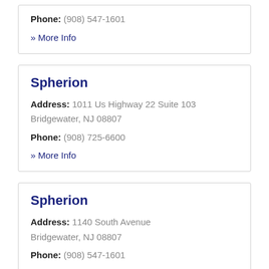Phone: (908) 547-1601
» More Info
Spherion
Address: 1011 Us Highway 22 Suite 103 Bridgewater, NJ 08807
Phone: (908) 725-6600
» More Info
Spherion
Address: 1140 South Avenue Bridgewater, NJ 08807
Phone: (908) 547-1601